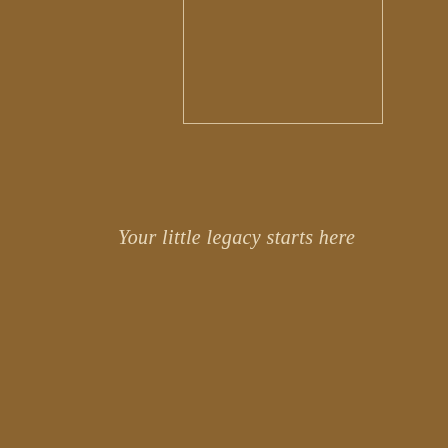[Figure (illustration): A rectangular outline (thin light border) on a warm brown background, partially cropped at the top of the page, centered-right]
Your little legacy starts here